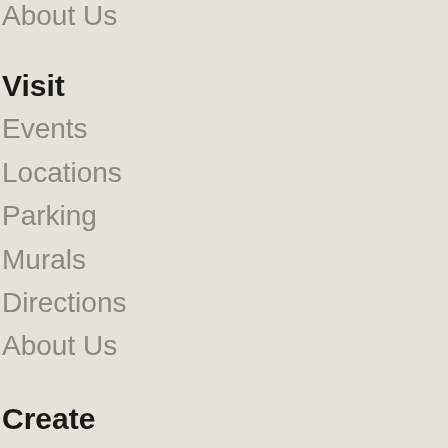About Us
Visit
Events
Locations
Parking
Murals
Directions
About Us
Create
Workshops